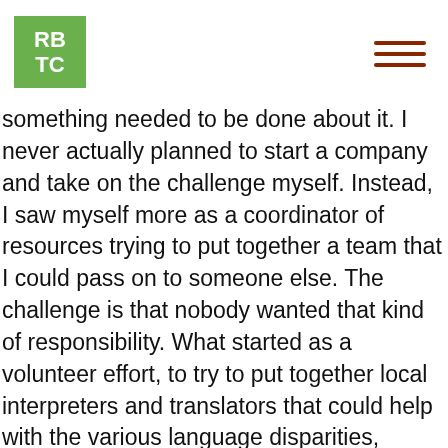[Figure (logo): RBTC logo: green square with white bold text reading RB on top line and TC on bottom line]
something needed to be done about it. I never actually planned to start a company and take on the challenge myself. Instead, I saw myself more as a coordinator of resources trying to put together a team that I could pass on to someone else. The challenge is that nobody wanted that kind of responsibility. What started as a volunteer effort, to try to put together local interpreters and translators that could help with the various language disparities, turned into a business model that is really thriving and growing at one of the fastest rates in the country.